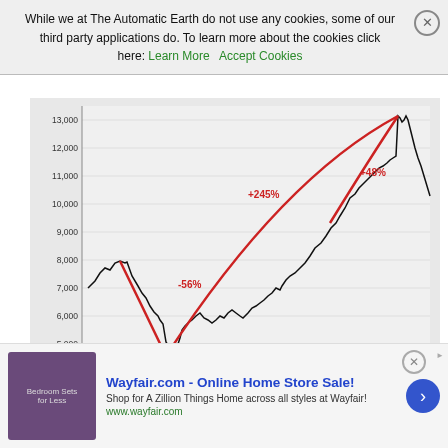While we at The Automatic Earth do not use any cookies, some of our third party applications do. To learn more about the cookies click here: Learn More  Accept Cookies
[Figure (line-chart): DAX index line chart from 2007 to 2016 showing a -56% decline to trough in 2009, then +245% rise to 2015 peak near 12,400, then -48% annotation on secondary rise. Data Source: Yahoo! Finance. DENT watermark.]
Data Source: Yahoo! Finance
But if Germany looks bad, there's nothing short of "terrible" to say about China! China's stock market makes Germany's late-stage bubble look pathetic! China saw the shortest and steepest bubble
Wayfair.com - Online Home Store Sale! Shop for A Zillion Things Home across all styles at Wayfair! www.wayfair.com